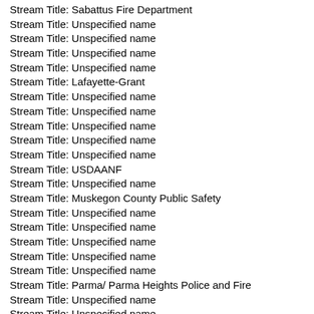Stream Title: Sabattus Fire Department
Stream Title: Unspecified name
Stream Title: Unspecified name
Stream Title: Unspecified name
Stream Title: Unspecified name
Stream Title: Lafayette-Grant
Stream Title: Unspecified name
Stream Title: Unspecified name
Stream Title: Unspecified name
Stream Title: Unspecified name
Stream Title: Unspecified name
Stream Title: USDAANF
Stream Title: Unspecified name
Stream Title: Muskegon County Public Safety
Stream Title: Unspecified name
Stream Title: Unspecified name
Stream Title: Unspecified name
Stream Title: Unspecified name
Stream Title: Unspecified name
Stream Title: Parma/ Parma Heights Police and Fire
Stream Title: Unspecified name
Stream Title: Unspecified name
Stream Title: Unspecified name
Stream Title: Unspecified name
Stream Title: Unspecified name